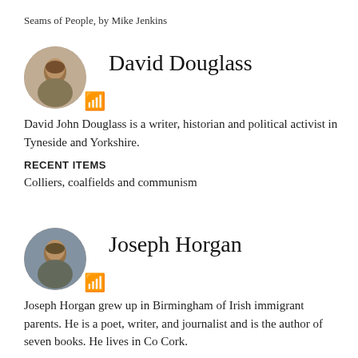Seams of People, by Mike Jenkins
David Douglass
[Figure (photo): Circular avatar portrait photo of David Douglass]
David John Douglass is a writer, historian and political activist in Tyneside and Yorkshire.
RECENT ITEMS
Colliers, coalfields and communism
Joseph Horgan
[Figure (photo): Circular avatar portrait photo of Joseph Horgan]
Joseph Horgan grew up in Birmingham of Irish immigrant parents. He is a poet, writer, and journalist and is the author of seven books. He lives in Co Cork.
RECENT ITEMS